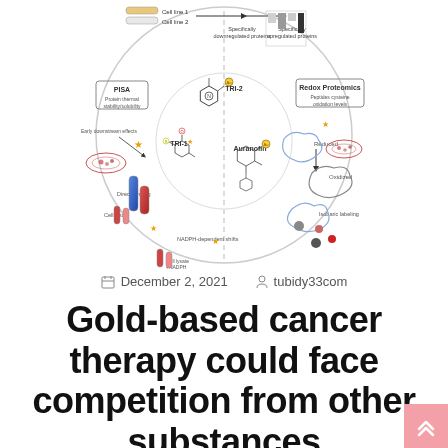[Figure (schematic): Scientific diagram showing a circular workflow for studying gold-based cancer therapy compounds (TRI-1, TRI-2, Auranofin). The circle is divided into sections: PISA (Protein thermal stability/solubility), Redox Proteomics (Peptides cysteine oxidation levels), Direct binding, Cell lysate, NADPH-dependent shifts, Isobaric labeling. Shows two cell lines compared, specifically downregulated and upregulated proteins, reduced and oxidized forms, with chemical structures in the center.]
December 2, 2021    tubidy33com
Gold-based cancer therapy could face competition from other substances